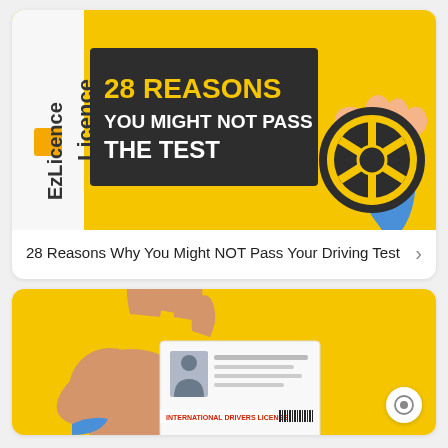[Figure (illustration): EzLicence branded banner on yellow background with text '28 REASONS YOU MIGHT NOT PASS THE TEST' and illustration of a hand holding a steering wheel. EzLicence logo on left side.]
28 Reasons Why You Might NOT Pass Your Driving Test
[Figure (illustration): Yellow background illustration showing a hand making an OK gesture holding an International Drivers License card.]